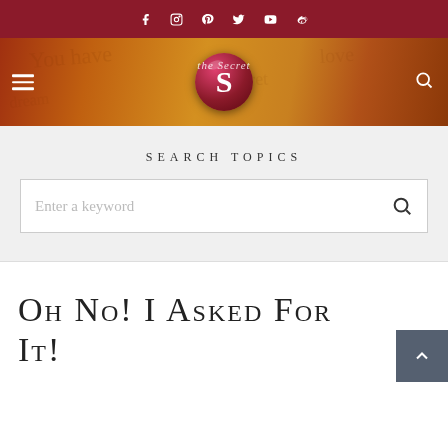Social media icons bar: Facebook, Instagram, Pinterest, Twitter, YouTube, Weibo
[Figure (screenshot): The Secret website header/banner with logo — a dark red circular seal with stylized S, handwritten script background in warm orange/brown tones, hamburger menu icon on left, search icon on right]
Search Topics
Enter a keyword [search box]
Oh No! I Asked For It!